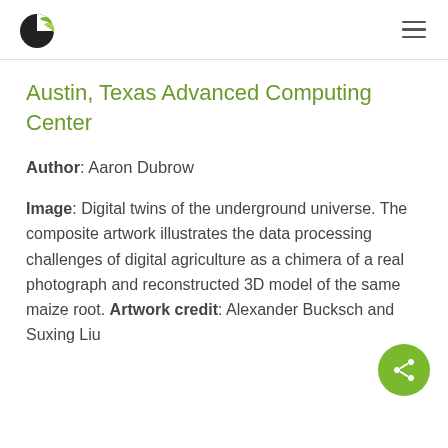Logo and navigation header
Austin, Texas Advanced Computing Center
Author: Aaron Dubrow
Image: Digital twins of the underground universe. The composite artwork illustrates the data processing challenges of digital agriculture as a chimera of a real photograph and reconstructed 3D model of the same maize root. Artwork credit: Alexander Bucksch and Suxing Liu